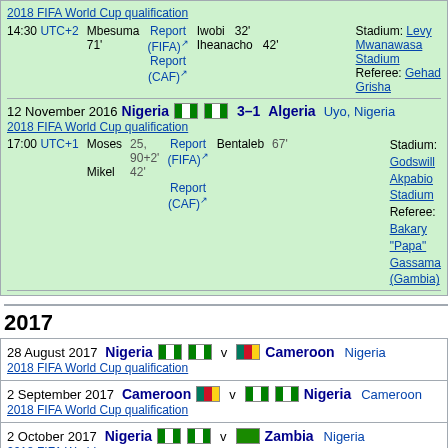| 2018 FIFA World Cup qualification | 14:30 UTC+2 | Mbesuma 71' | Report (FIFA) Report (CAF) | Iwobi 32' Iheanacho 42' | Stadium: Levy Mwanawasa Stadium Referee: Gehad Grisha |
| 12 November 2016 | Nigeria | 3–1 | Algeria | Uyo, Nigeria | 2018 FIFA World Cup qualification | 17:00 UTC+1 | Moses 25, 90+2' Mikel 42' | Report (FIFA) Report (CAF) | Bentaleb 67' | Stadium: Godswill Akpabio Stadium Referee: Bakary "Papa" Gassama (Gambia) |
2017
| 28 August 2017 | Nigeria | v | Cameroon | Nigeria | 2018 FIFA World Cup qualification |
| 2 September 2017 | Cameroon | v | Nigeria | Cameroon | 2018 FIFA World Cup qualification |
| 2 October 2017 | Nigeria | v | Zambia | Nigeria | 2018 FIFA World Cup |